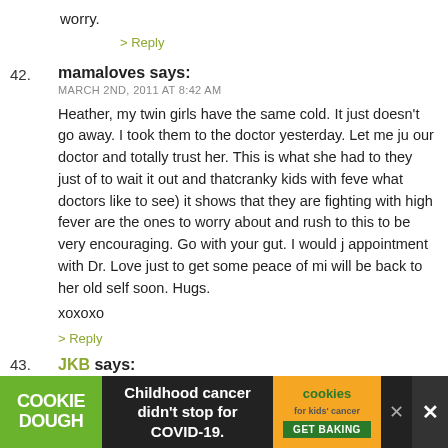worry.
> Reply
42. mamaloves says: MARCH 2ND, 2011 AT 8:42 AM
Heather, my twin girls have the same cold. It just doesn't go away. I took them to the doctor yesterday. Let me just our doctor and totally trust her. This is what she had to they just of to wait it out and thatcranky kids with feve what doctors like to see) it shows that they are fighting with high fever are the ones to worry about and rush to this to be very encouraging. Go with your gut. I would j appointment with Dr. Love just to get some peace of mi will be back to her old self soon. Hugs.
xoxoxo
> Reply
43. JKB says:
[Figure (screenshot): Advertisement banner: Cookie Dough / Childhood cancer didn't stop for COVID-19 / cookies for kids' cancer GET BAKING]